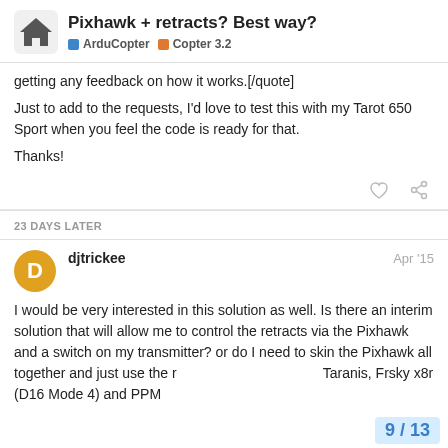Pixhawk + retracts? Best way? | ArduCopter | Copter 3.2
getting any feedback on how it works.[/quote]

Just to add to the requests, I'd love to test this with my Tarot 650 Sport when you feel the code is ready for that.

Thanks!
23 DAYS LATER
djtrickee — Apr '15
I would be very interested in this solution as well. Is there an interim solution that will allow me to control the retracts via the Pixhawk and a switch on my transmitter? or do I need to skin the Pixhawk all together and just use the r Taranis, Frsky x8r (D16 Mode 4) and PPM
9 / 13